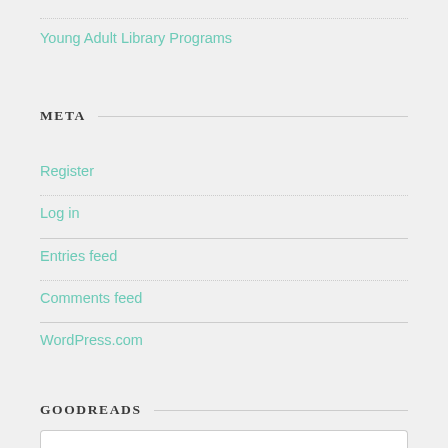Young Adult Library Programs
META
Register
Log in
Entries feed
Comments feed
WordPress.com
GOODREADS